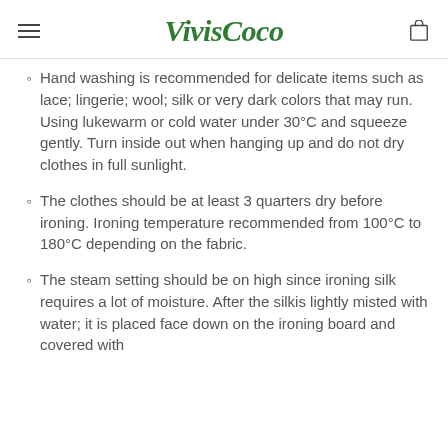VivisCoco
Hand washing is recommended for delicate items such as lace; lingerie; wool; silk or very dark colors that may run. Using lukewarm or cold water under 30°C and squeeze gently. Turn inside out when hanging up and do not dry clothes in full sunlight.
The clothes should be at least 3 quarters dry before ironing. Ironing temperature recommended from 100°C to 180°C depending on the fabric.
The steam setting should be on high since ironing silk requires a lot of moisture. After the silkis lightly misted with water; it is placed face down on the ironing board and covered with